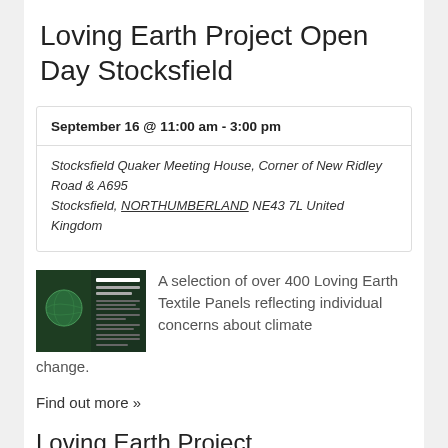Loving Earth Project Open Day Stocksfield
September 16 @ 11:00 am - 3:00 pm
Stocksfield Quaker Meeting House, Corner of New Ridley Road & A695
Stocksfield, NORTHUMBERLAND NE43 7L United Kingdom
[Figure (photo): Thumbnail image of a flyer/poster for the Loving Earth Project Open Day event, showing text on a dark green background with an image of the earth]
A selection of over 400 Loving Earth Textile Panels reflecting individual concerns about climate change.
Find out more »
Loving Earth Project...